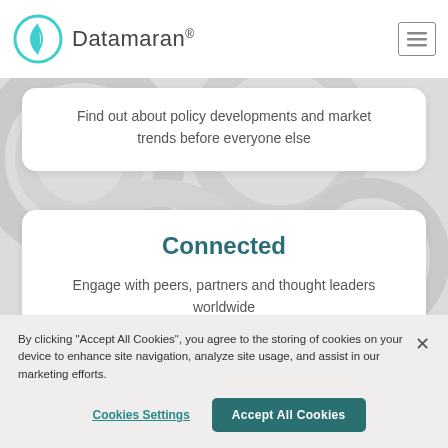Datamaran®
Find out about policy developments and market trends before everyone else
Connected
Engage with peers, partners and thought leaders worldwide
By clicking "Accept All Cookies", you agree to the storing of cookies on your device to enhance site navigation, analyze site usage, and assist in our marketing efforts.
Cookies Settings
Accept All Cookies